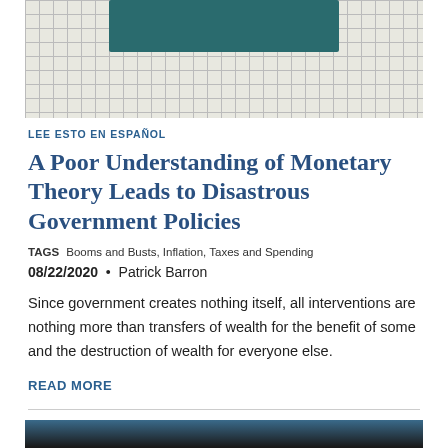[Figure (photo): Top portion showing a teal/dark green rectangular object against a grid-paper background]
LEE ESTO EN ESPAÑOL
A Poor Understanding of Monetary Theory Leads to Disastrous Government Policies
TAGS  Booms and Busts, Inflation, Taxes and Spending
08/22/2020  •  Patrick Barron
Since government creates nothing itself, all interventions are nothing more than transfers of wealth for the benefit of some and the destruction of wealth for everyone else.
READ MORE
[Figure (photo): Bottom image with dark background and blue header strip, partially visible]